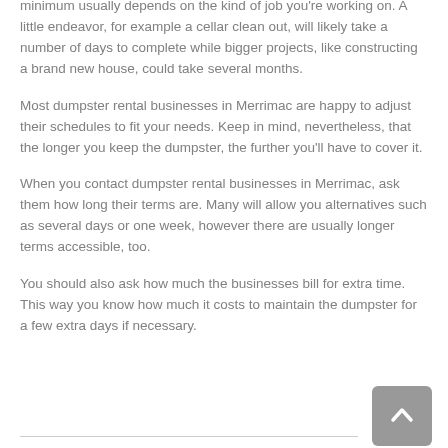minimum usually depends on the kind of job you're working on. A little endeavor, for example a cellar clean out, will likely take a number of days to complete while bigger projects, like constructing a brand new house, could take several months.
Most dumpster rental businesses in Merrimac are happy to adjust their schedules to fit your needs. Keep in mind, nevertheless, that the longer you keep the dumpster, the further you'll have to cover it.
When you contact dumpster rental businesses in Merrimac, ask them how long their terms are. Many will allow you alternatives such as several days or one week, however there are usually longer terms accessible, too.
You should also ask how much the businesses bill for extra time. This way you know how much it costs to maintain the dumpster for a few extra days if necessary.